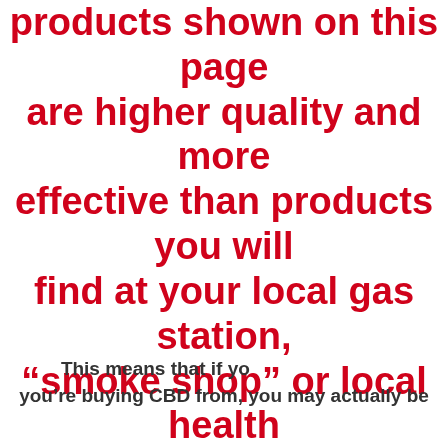products shown on this page are higher quality and more effective than products you will find at your local gas station, “smoke shop” or local health store
Many over-the-counter Nome CBD Oil products contain no CBD, or worse, may have dangerous ingredients in them like heavy metals or p
[Figure (other): Google rating card showing 5.0 stars]
This means that if yo you're buying CBD from, you may actually be